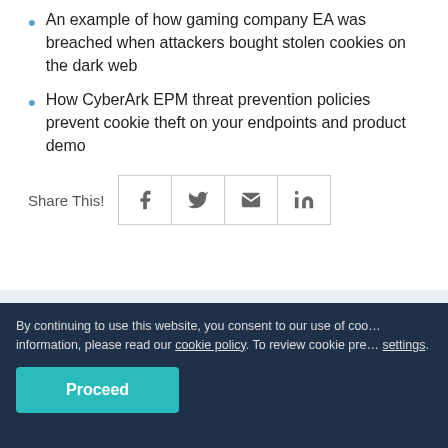An example of how gaming company EA was breached when attackers bought stolen cookies on the dark web
How CyberArk EPM threat prevention policies prevent cookie theft on your endpoints and product demo
Share This!
By continuing to use this website, you consent to our use of cookies. For more information, please read our cookie policy. To review cookie preferences, visit settings.
More Videos
Endpoint Least Privilege: A Foundational Security Control
Proceed